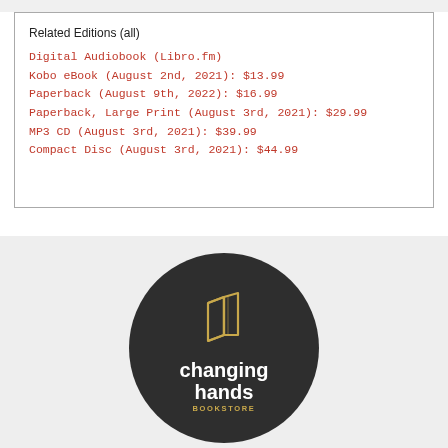Related Editions (all)
Digital Audiobook (Libro.fm)
Kobo eBook (August 2nd, 2021): $13.99
Paperback (August 9th, 2022): $16.99
Paperback, Large Print (August 3rd, 2021): $29.99
MP3 CD (August 3rd, 2021): $39.99
Compact Disc (August 3rd, 2021): $44.99
[Figure (logo): Changing Hands Bookstore logo: dark circular badge with a gold outline of an open book above the text 'changing hands' in white and 'BOOKSTORE' in gold letters.]